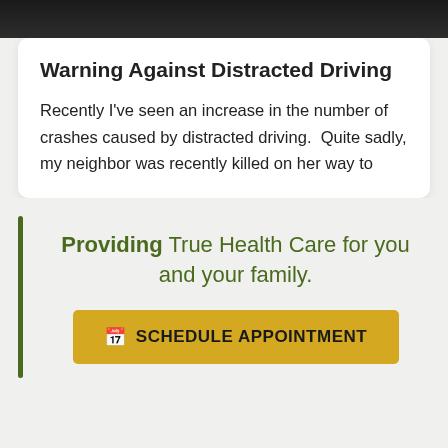[Figure (photo): Dark photograph of a person, partially visible at top of page]
Warning Against Distracted Driving
Recently I've seen an increase in the number of crashes caused by distracted driving.  Quite sadly, my neighbor was recently killed on her way to
Providing True Health Care for you and your family.
SCHEDULE APPOINTMENT